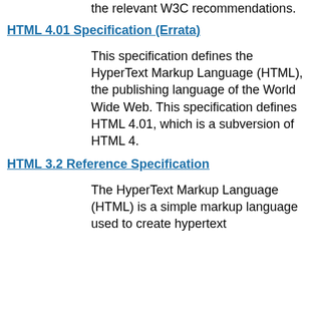the relevant W3C recommendations.
HTML 4.01 Specification (Errata)
This specification defines the HyperText Markup Language (HTML), the publishing language of the World Wide Web. This specification defines HTML 4.01, which is a subversion of HTML 4.
HTML 3.2 Reference Specification
The HyperText Markup Language (HTML) is a simple markup language used to create hypertext